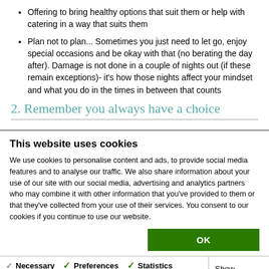Offering to bring healthy options that suit them or help with catering in a way that suits them
Plan not to plan... Sometimes you just need to let go, enjoy special occasions and be okay with that (no berating the day after). Damage is not done in a couple of nights out (if these remain exceptions)- it's how those nights affect your mindset and what you do in the times in between that counts
2. Remember you always have a choice
This website uses cookies
We use cookies to personalise content and ads, to provide social media features and to analyse our traffic. We also share information about your use of our site with our social media, advertising and analytics partners who may combine it with other information that you've provided to them or that they've collected from your use of their services. You consent to our cookies if you continue to use our website.
OK
Necessary  Preferences  Statistics  Marketing  Show details